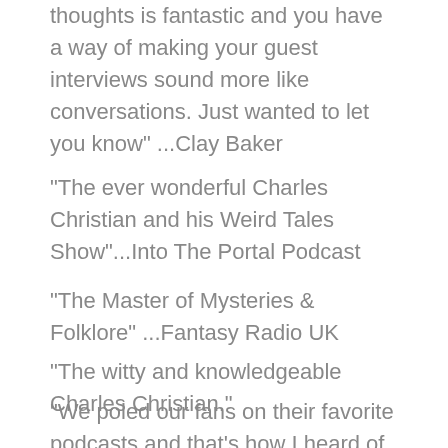thoughts is fantastic and you have a way of making your guest interviews sound more like conversations. Just wanted to let you know" ...Clay Baker
"The ever wonderful Charles Christian and his Weird Tales Show"...Into The Portal Podcast
"The Master of Mysteries & Folklore" ...Fantasy Radio UK
"The witty and knowledgeable Charles Christian."
"We poled our fans on their favorite podcasts and that's how I heard of Weird